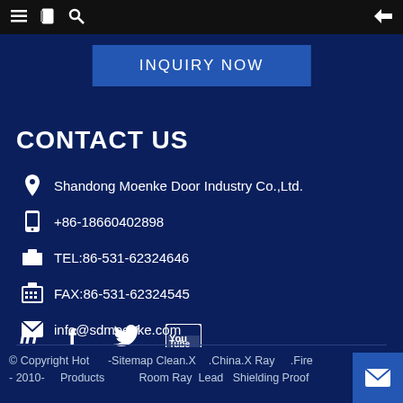Navigation bar with menu, bookmark, search icons and back arrow
INQUIRY NOW
CONTACT US
Shandong Moenke Door Industry Co.,Ltd.
+86-18660402898
TEL:86-531-62324646
FAX:86-531-62324545
info@sdmoenke.com
[Figure (illustration): Social media icons: LinkedIn, Facebook, Twitter, YouTube]
© Copyright Hot -Sitemap Clean.X .China.X Ray .Fire - 2010- Products Room Ray Lead Shielding Proof